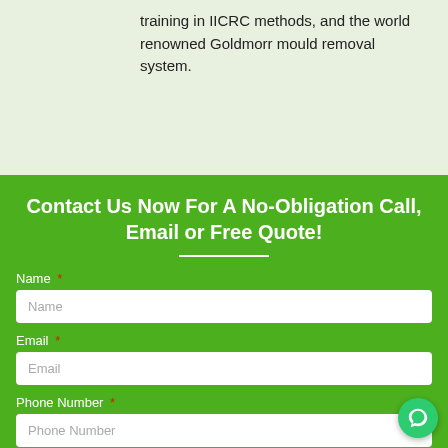training in IICRC methods, and the world renowned Goldmorr mould removal system.
Contact Us Now For A No-Obligation Call, Email or Free Quote!
Name *
Email *
Phone Number *